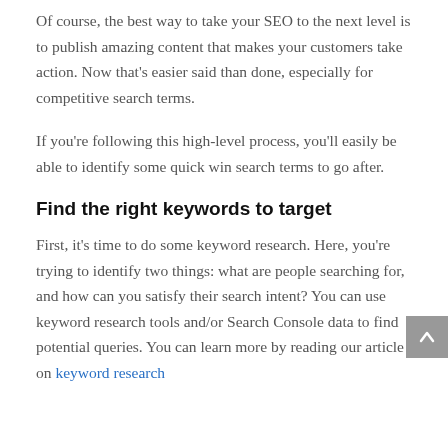Of course, the best way to take your SEO to the next level is to publish amazing content that makes your customers take action. Now that's easier said than done, especially for competitive search terms.
If you're following this high-level process, you'll easily be able to identify some quick win search terms to go after.
Find the right keywords to target
First, it's time to do some keyword research. Here, you're trying to identify two things: what are people searching for, and how can you satisfy their search intent? You can use keyword research tools and/or Search Console data to find potential queries. You can learn more by reading our article on keyword research